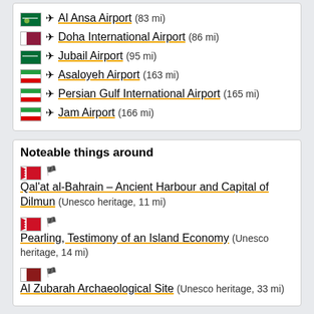Al Ansa Airport (83 mi)
Doha International Airport (86 mi)
Jubail Airport (95 mi)
Asaloyeh Airport (163 mi)
Persian Gulf International Airport (165 mi)
Jam Airport (166 mi)
Noteable things around
Qal'at al-Bahrain – Ancient Harbour and Capital of Dilmun (Unesco heritage, 11 mi)
Pearling, Testimony of an Island Economy (Unesco heritage, 14 mi)
Al Zubarah Archaeological Site (Unesco heritage, 33 mi)
Location Summary
Decimal Coordinates (Latitude, Longitude):
26.069 and 50.504 (Lat./Lng.)
Coordinates by Time: